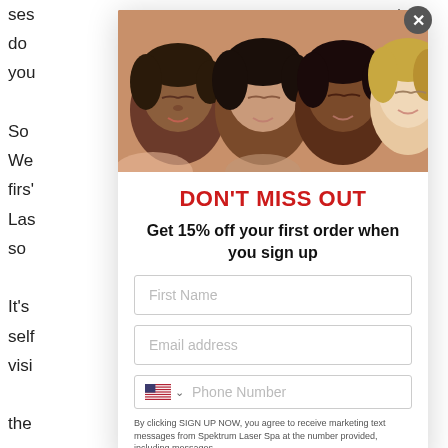ses
do
you

So
We
firs'
Las
so

It's
selt
visi

the
to
e
ite.


ir
ax.
le,


l


1
[Figure (photo): Four women lying down with heads together forming a circle, eyes closed, diverse skin tones and hair colors]
DON'T MISS OUT
Get 15% off your first order when you sign up
First Name
Email address
Phone Number
By clicking SIGN UP NOW, you agree to receive marketing text messages from Spektrum Laser Spa at the number provided, including messages